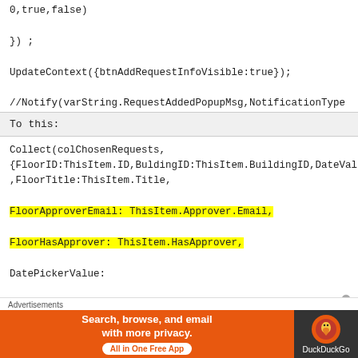0,true,false)
}) ;
UpdateContext({btnAddRequestInfoVisible:true});
//Notify(varString.RequestAddedPopupMsg,NotificationType
To this:
Collect(colChosenRequests,
{FloorID:ThisItem.ID,BuldingID:ThisItem.BuildingID,DateVal
,FloorTitle:ThisItem.Title,

FloorApproverEmail: ThisItem.Approver.Email,

FloorHasApprover: ThisItem.HasApprover,

DatePickerValue:
[Figure (other): DuckDuckGo advertisement banner: orange background with text 'Search, browse, and email with more privacy. All in One Free App' and DuckDuckGo logo on dark background]